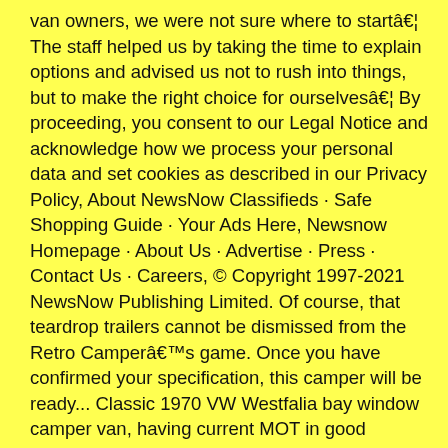van owners, we were not sure where to startâ¦ The staff helped us by taking the time to explain options and advised us not to rush into things, but to make the right choice for ourselvesâ¦ By proceeding, you consent to our Legal Notice and acknowledge how we process your personal data and set cookies as described in our Privacy Policy, About NewsNow Classifieds · Safe Shopping Guide · Your Ads Here, Newsnow Homepage · About Us · Advertise · Press · Contact Us · Careers, © Copyright 1997-2021 NewsNow Publishing Limited. Of course, that teardrop trailers cannot be dismissed from the Retro Camperâs game. Once you have confirmed your specification, this camper will be ready... Classic 1970 VW Westfalia bay window camper van, having current MOT in good condition. All rights reserved. Buy a full conversion VW T6 Transporter Camper with the highest quality build. 2012 Volkswagen vw crafter camper new conversion race van off grid NO VAT, Lanarkshire, Glasgow and Surrounding Areas. We have a selection of vehicles either chauffeur driven or self drive, guaranteed to get you to the church in style! And whether you want an RV rental or to own â nothing is cooler than the classic look of a vintage camper. new hampshire (nhm) new haven, CT (hvn) norfolk / hampton roads (nfk) north jersey (njy) ... Ram Promaster Camper Van Sale $45,000